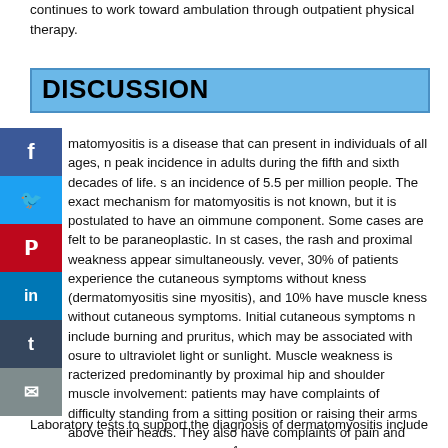continues to work toward ambulation through outpatient physical therapy.
DISCUSSION
matomyositis is a disease that can present in individuals of all ages, n peak incidence in adults during the fifth and sixth decades of life. s an incidence of 5.5 per million people. The exact mechanism for matomyositis is not known, but it is postulated to have an oimmune component. Some cases are felt to be paraneoplastic. In st cases, the rash and proximal weakness appear simultaneously. vever, 30% of patients experience the cutaneous symptoms without kness (dermatomyositis sine myositis), and 10% have muscle kness without cutaneous symptoms. Initial cutaneous symptoms n include burning and pruritus, which may be associated with osure to ultraviolet light or sunlight. Muscle weakness is racterized predominantly by proximal hip and shoulder muscle involvement: patients may have complaints of difficulty standing from a sitting position or raising their arms above their heads. They also have complaints of pain and tenderness to their muscles.¹
Laboratory tests to support the diagnosis of dermatomyositis include